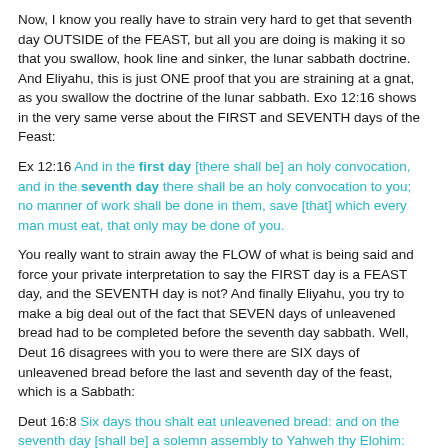Now, I know you really have to strain very hard to get that seventh day OUTSIDE of the FEAST, but all you are doing is making it so that you swallow, hook line and sinker, the lunar sabbath doctrine. And Eliyahu, this is just ONE proof that you are straining at a gnat, as you swallow the doctrine of the lunar sabbath. Exo 12:16 shows in the very same verse about the FIRST and SEVENTH days of the Feast:
Ex 12:16 And in the first day [there shall be] an holy convocation, and in the seventh day there shall be an holy convocation to you; no manner of work shall be done in them, save [that] which every man must eat, that only may be done of you.
You really want to strain away the FLOW of what is being said and force your private interpretation to say the FIRST day is a FEAST day, and the SEVENTH day is not? And finally Eliyahu, you try to make a big deal out of the fact that SEVEN days of unleavened bread had to be completed before the seventh day sabbath. Well, Deut 16 disagrees with you to were there are SIX days of unleavened bread before the last and seventh day of the feast, which is a Sabbath:
Deut 16:8 Six days thou shalt eat unleavened bread: and on the seventh day [shall be] a solemn assembly to Yahweh thy Elohim: thou shalt do no work [therein].
Do you see that Eliyahu? The Feast of Unleavened Bread is as you claim, a total of seven days, but Deut 16:8 shows that SIX days of unleavened bread PROCEED the last and final day of Unleavened Bread, and that seventh final day of Unleavened Bread is a Sabbath, and it falls on the 21st day of the month, not the 22nd day as your